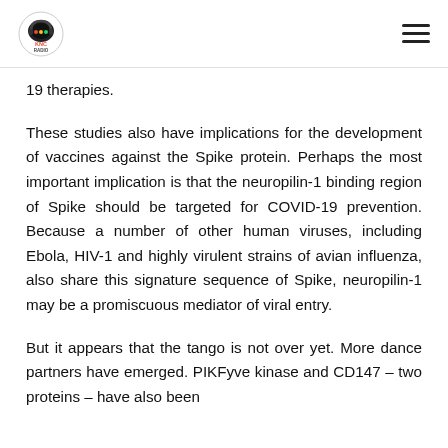KNC RADIO logo and hamburger menu
19 therapies.
These studies also have implications for the development of vaccines against the Spike protein. Perhaps the most important implication is that the neuropilin-1 binding region of Spike should be targeted for COVID-19 prevention. Because a number of other human viruses, including Ebola, HIV-1 and highly virulent strains of avian influenza, also share this signature sequence of Spike, neuropilin-1 may be a promiscuous mediator of viral entry.
But it appears that the tango is not over yet. More dance partners have emerged. PIKFyve kinase and CD147 – two proteins – have also been